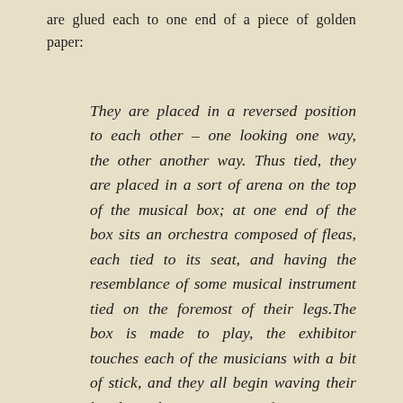are glued each to one end of a piece of golden paper:
They are placed in a reversed position to each other – one looking one way, the other another way. Thus tied, they are placed in a sort of arena on the top of the musical box; at one end of the box sits an orchestra composed of fleas, each tied to its seat, and having the resemblance of some musical instrument tied on the foremost of their legs.The box is made to play, the exhibitor touches each of the musicians with a bit of stick, and they all begin waving their hands about, as performing an elaborate piece of music. The fleas tied to the gold paper